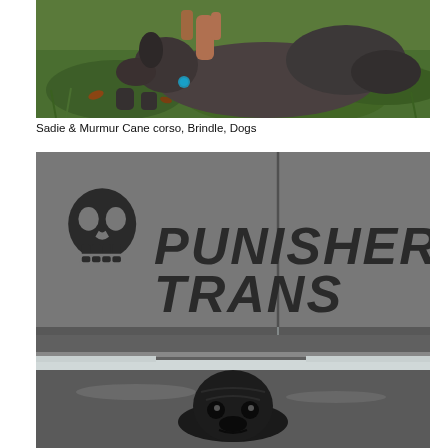[Figure (photo): Two dogs (Cane Corsos) playing on green grass, one appears to be a brindle, photographed outdoors]
Sadie & Murmur Cane corso, Brindle, Dogs
[Figure (photo): Black and white photo of a black Cane Corso puppy hiding under a truck/trailer with 'Punisher Trans' logo (skull emblem) visible on the side, snow on the ground]